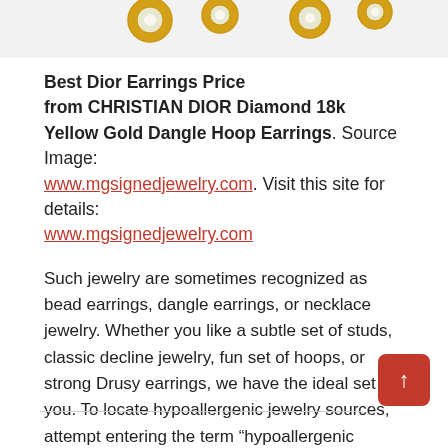[Figure (photo): Partial view of gold earrings with diamond accents on white background at top of page]
Best Dior Earrings Price from CHRISTIAN DIOR Diamond 18k Yellow Gold Dangle Hoop Earrings. Source Image: www.mgsignedjewelry.com. Visit this site for details: www.mgsignedjewelry.com
Such jewelry are sometimes recognized as bead earrings, dangle earrings, or necklace jewelry. Whether you like a subtle set of studs, classic decline jewelry, fun set of hoops, or strong Drusy earrings, we have the ideal set for you. To locate hypoallergenic jewelry sources, attempt entering the term “hypoallergenic jewelry” into a search engine and also search online.